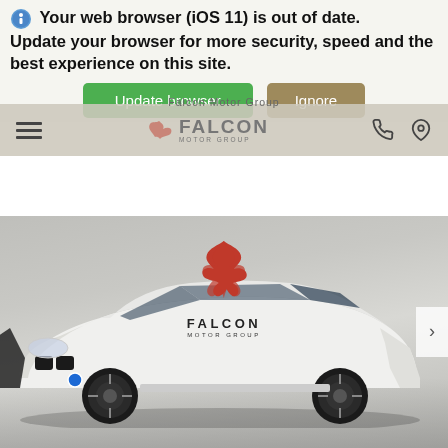Your web browser (iOS 11) is out of date. Update your browser for more security, speed and the best experience on this site.
[Figure (screenshot): Green 'Update browser' button and brown/gold 'Ignore' button]
[Figure (logo): Falcon Motor Group navigation bar with hamburger menu, Falcon logo in center, phone and location icons on right]
[Figure (photo): White BMW M4 coupe photographed in showroom with Falcon Motor Group red falcon logo watermark above the car]